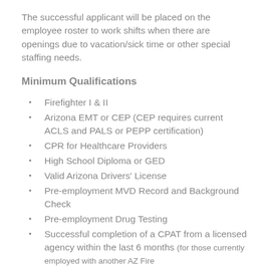The successful applicant will be placed on the employee roster to work shifts when there are openings due to vacation/sick time or other special staffing needs.
Minimum Qualifications
Firefighter I & II
Arizona EMT or CEP (CEP requires current ACLS and PALS or PEPP certification)
CPR for Healthcare Providers
High School Diploma or GED
Valid Arizona Drivers' License
Pre-employment MVD Record and Background Check
Pre-employment Drug Testing
Successful completion of a CPAT from a licensed agency within the last 6 months (for those currently employed with another AZ Fire